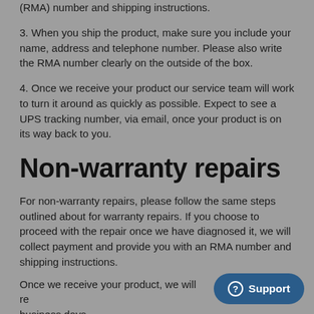(RMA) number and shipping instructions.
3. When you ship the product, make sure you include your name, address and telephone number. Please also write the RMA number clearly on the outside of the box.
4. Once we receive your product our service team will work to turn it around as quickly as possible. Expect to see a UPS tracking number, via email, once your product is on its way back to you.
Non-warranty repairs
For non-warranty repairs, please follow the same steps outlined about for warranty repairs. If you choose to proceed with the repair once we have diagnosed it, we will collect payment and provide you with an RMA number and shipping instructions.
Once we receive your product, we will re... business days.